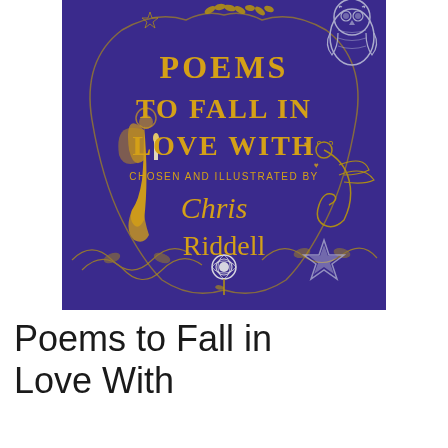[Figure (illustration): Book cover of 'Poems to Fall in Love With', chosen and illustrated by Chris Riddell. Deep purple background with gold decorative lettering, swirling vines and leaves, a golden angel figure holding a candle on the left, a dragon creature on the right, an owl in the top right corner, a white rose at the bottom center, and a silver star at the bottom right. The title text 'POEMS TO FALL IN LOVE WITH' is in large gold serif letters, with 'CHOSEN AND ILLUSTRATED BY' in smaller gold text, and 'Chris Riddell' in a stylized gold script/serif font.]
Poems to Fall in Love With